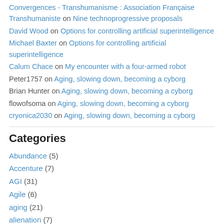Convergences - Transhumanisme : Association Française Transhumaniste on Nine technoprogressive proposals
David Wood on Options for controlling artificial superintelligence
Michael Baxter on Options for controlling artificial superintelligence
Calum Chace on My encounter with a four-armed robot
Peter1757 on Aging, slowing down, becoming a cyborg
Brian Hunter on Aging, slowing down, becoming a cyborg
flowofsoma on Aging, slowing down, becoming a cyborg
cryonica2030 on Aging, slowing down, becoming a cyborg
Categories
Abundance (5)
Accenture (7)
AGI (31)
Agile (6)
aging (21)
alienation (7)
Android (7)